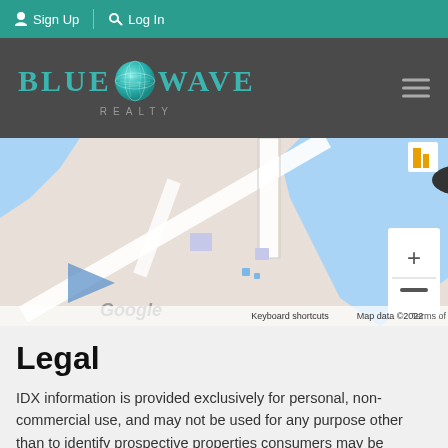Sign Up  Log In
[Figure (logo): Blue Wave Realty logo with teal globe icon in dark header bar]
[Figure (map): Google Maps view showing property area with 2.3M price marker, zoom controls, and map attribution: Keyboard shortcuts | Map data ©2022 | Terms of Use]
Legal
IDX information is provided exclusively for personal, non-commercial use, and may not be used for any purpose other than to identify prospective properties consumers may be interested in purchasing. Information is deemed reliable but not guaranteed.